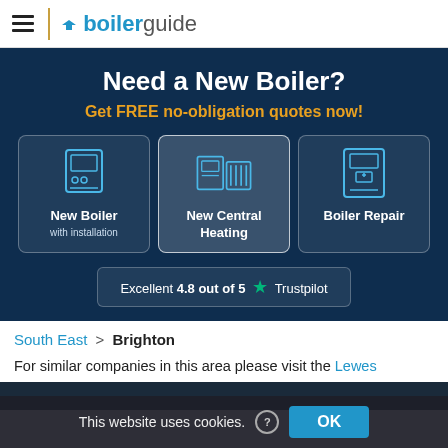boilerguide
Need a New Boiler?
Get FREE no-obligation quotes now!
[Figure (illustration): Three service option cards: New Boiler with installation, New Central Heating, Boiler Repair — each with a blue icon illustration on dark navy background]
Excellent 4.8 out of 5 ★ Trustpilot
South East > Brighton
For similar companies in this area please visit the Lewes
This website uses cookies. ? OK